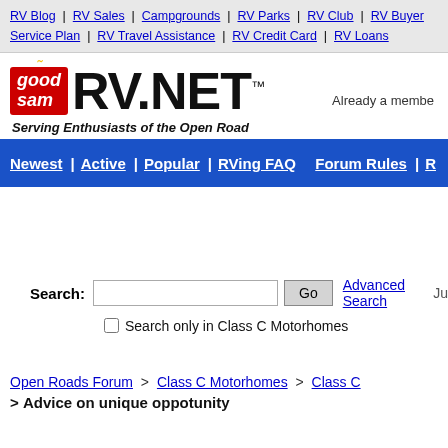RV Blog | RV Sales | Campgrounds | RV Parks | RV Club | RV Buyer Service Plan | RV Travel Assistance | RV Credit Card | RV Loans
[Figure (logo): Good Sam RV.NET logo with tagline 'Serving Enthusiasts of the Open Road']
Already a member
Newest | Active | Popular | RVing FAQ | Forum Rules
Search: [input] Go | Advanced Search | Ju
Search only in Class C Motorhomes
Open Roads Forum > Class C Motorhomes > Class C > Advice on unique oppotunity